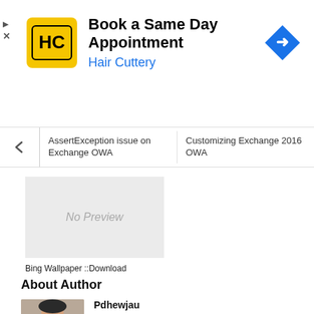[Figure (screenshot): Hair Cuttery advertisement banner with yellow logo, text 'Book a Same Day Appointment' and 'Hair Cuttery', and a blue navigation arrow icon]
AssertException issue on Exchange OWA   Customizing Exchange 2016 OWA
[Figure (screenshot): No Preview image placeholder — grey rectangle with text 'No Preview']
Bing Wallpaper ::Download
About Author
[Figure (photo): Photo of author Pdhewjau — a young man wearing a dark cap]
Pdhewjau
Prashant is a Microsoft MVP for Office Servers and Services. He works as Technical Lead on The Load Servers...